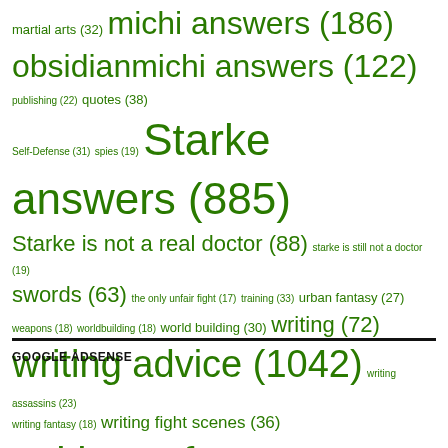[Figure (infographic): Tag cloud with green text showing various blog/website tags with frequency counts. Tags range in size based on count. Includes: martial arts (32), michi answers (186), obsidianmichi answers (122), publishing (22), quotes (38), Self-Defense (31), spies (19), Starke answers (885), Starke is not a real doctor (88), starke is still not a doctor (19), swords (63), the only unfair fight (17), training (33), urban fantasy (27), weapons (18), worldbuilding (18), world building (30), writing (72), writing advice (1042), writing assassins (23), writing fantasy (18), writing fight scenes (36), writing reference (1143), writing spies (18), writing tips (496), writing training (20), writing violence (40)]
GOOGLE ADSENSE